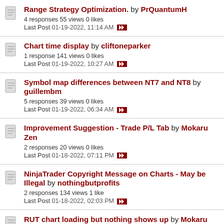Range Strategy Optimization. by PrQuantumH
4 responses 55 views 0 likes
Last Post 01-19-2022, 11:14 AM
Chart time display by cliftoneparker
1 response 141 views 0 likes
Last Post 01-19-2022, 10:27 AM
Symbol map differences between NT7 and NT8 by guillembm
5 responses 39 views 0 likes
Last Post 01-19-2022, 06:34 AM
Improvement Suggestion - Trade P/L Tab by Mokaru Zen
2 responses 20 views 0 likes
Last Post 01-18-2022, 07:11 PM
NinjaTrader Copyright Message on Charts - May be Illegal by nothingbutprofits
2 responses 134 views 1 like
Last Post 01-18-2022, 02:03 PM
RUT chart loading but nothing shows up by Mokaru Zen
1 response 41 views 0 likes
Last Post 01-18-2022, 11:09 AM